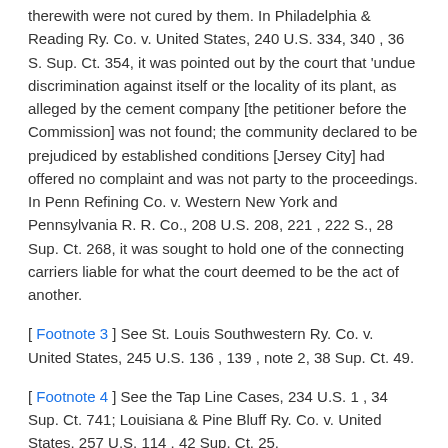therewith were not cured by them. In Philadelphia & Reading Ry. Co. v. United States, 240 U.S. 334, 340 , 36 S. Sup. Ct. 354, it was pointed out by the court that 'undue discrimination against itself or the locality of its plant, as alleged by the cement company [the petitioner before the Commission] was not found; the community declared to be prejudiced by established conditions [Jersey City] had offered no complaint and was not party to the proceedings. In Penn Refining Co. v. Western New York and Pennsylvania R. R. Co., 208 U.S. 208, 221 , 222 S., 28 Sup. Ct. 268, it was sought to hold one of the connecting carriers liable for what the court deemed to be the act of another.
[ Footnote 3 ] See St. Louis Southwestern Ry. Co. v. United States, 245 U.S. 136 , 139 , note 2, 38 Sup. Ct. 49.
[ Footnote 4 ] See the Tap Line Cases, 234 U.S. 1 , 34 Sup. Ct. 741; Louisiana & Pine Bluff Ry. Co. v. United States, 257 U.S. 114 , 42 Sup. Ct. 25.